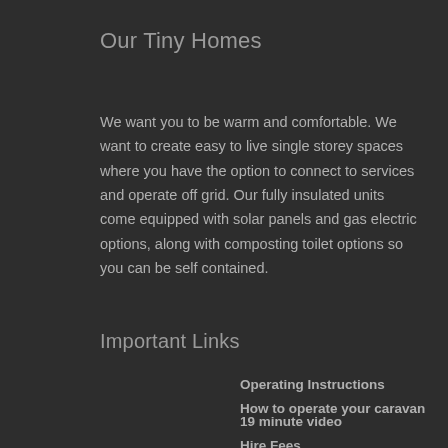Our Tiny Homes
We want you to be warm and comfortable.  We want to create easy to live single storey spaces where you have the option to connect to services and operate off grid. Our fully insulated units come equipped with solar panels and gas electric options, along with composting toilet options so you can be self contained.
Important Links
Operating Instructions
How to operate your caravan 19 minute video
Hire Fees
What is included in your caravan
Terms and Conditions – Caravan Hire
Terms and Conditions – Static Caravan Hire